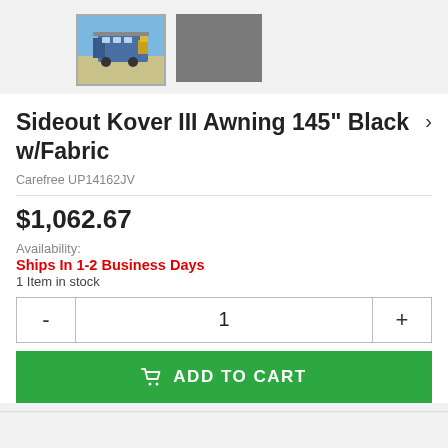[Figure (photo): Thumbnail photo of an RV/trailer with an awning extended, parked outdoors with blue sky background]
[Figure (other): Solid gray color swatch thumbnail]
Sideout Kover III Awning 145" Black w/Fabric
Carefree UP14162JV
$1,062.67
Availability:
Ships In 1-2 Business Days
1 Item in stock
1
ADD TO CART